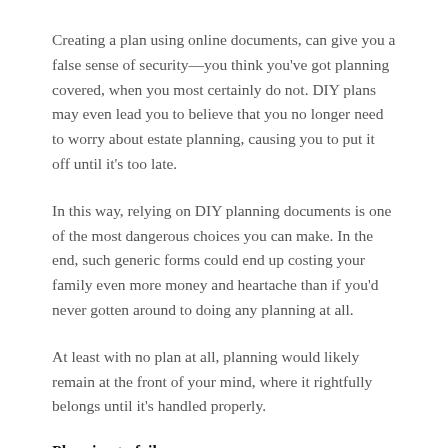Creating a plan using online documents, can give you a false sense of security—you think you've got planning covered, when you most certainly do not. DIY plans may even lead you to believe that you no longer need to worry about estate planning, causing you to put it off until it's too late.
In this way, relying on DIY planning documents is one of the most dangerous choices you can make. In the end, such generic forms could end up costing your family even more money and heartache than if you'd never gotten around to doing any planning at all.
At least with no plan at all, planning would likely remain at the front of your mind, where it rightfully belongs until it's handled properly.
Planning to fail